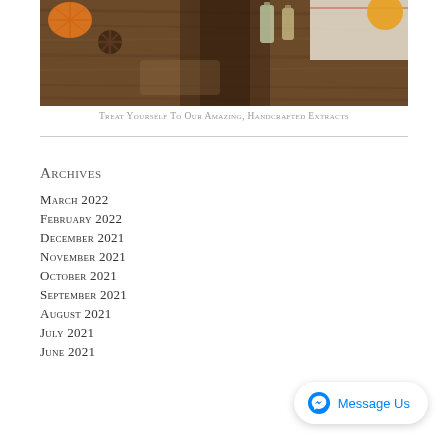[Figure (photo): Photograph of essential oil bottles and spices (star anise, orange slices) on a rustic wooden surface with a linen cloth, partially visible at the top of the page.]
Treat Yourself To Our Amazing, Handcrafted Extracts
Archives
March 2022
February 2022
December 2021
November 2021
October 2021
September 2021
August 2021
July 2021
June 2021